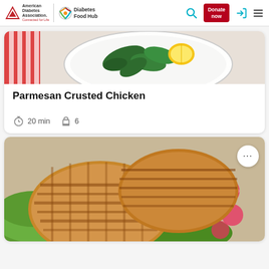American Diabetes Association | Diabetes Food Hub | [search] [Donate now] [login] [menu]
[Figure (photo): Top portion of a recipe card showing a white plate with fresh spinach leaves and a lemon wedge, with a red and white striped cloth visible on the left]
Parmesan Crusted Chicken
20 min   6
[Figure (photo): Two golden-brown grilled chicken patties with grill marks, served on a bed of green lettuce leaves with sliced red radishes visible on the right side]